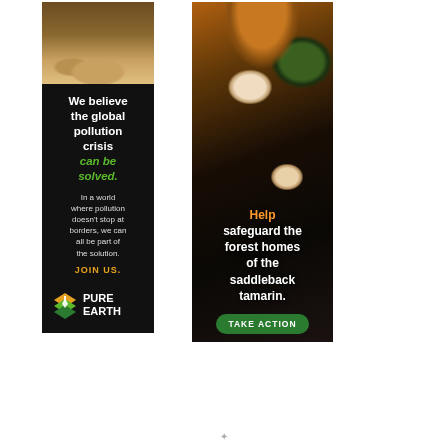[Figure (photo): Photo of hands working with sawdust or grain on ground]
We believe the global pollution crisis can be solved.
In a world where pollution doesn't stop at borders, we can all be part of the solution.
JOIN US.
[Figure (logo): Pure Earth logo: diamond layered icon with downward arrow, text PURE EARTH]
[Figure (photo): Photo of saddleback tamarin monkeys in forest setting]
Help safeguard the forest homes of the saddleback tamarin.
TAKE ACTION
⌄